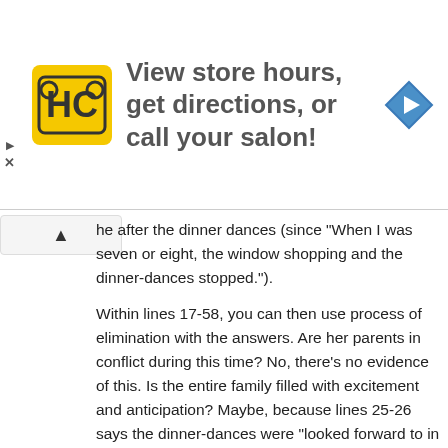[Figure (other): Advertisement banner for a salon directory service showing HC logo, text 'View store hours, get directions, or call your salon!', and a navigation/directions icon]
he after the dinner dances (since "When I was seven or eight, the window shopping and the dinner-dances stopped.").
Within lines 17-58, you can then use process of elimination with the answers. Are her parents in conflict during this time? No, there's no evidence of this. Is the entire family filled with excitement and anticipation? Maybe, because lines 25-26 says the dinner-dances were "looked forward to in anticipation". Did the narrator and her father have a much easier relationship then? Maybe they had an easy relationship then, but there's no evidence that this changed later on (in lines 59 onwards, her parents are in conflict, not she and her father). Was it a time when her mother and father had renewed hope for the future of the family? There's no evidence of that really one way or the other; you'd have to infer far beyond what's written to get to that answer, which the ACT will never ask you to do. The only answer which has textual evidence to support it, then, is choice G.